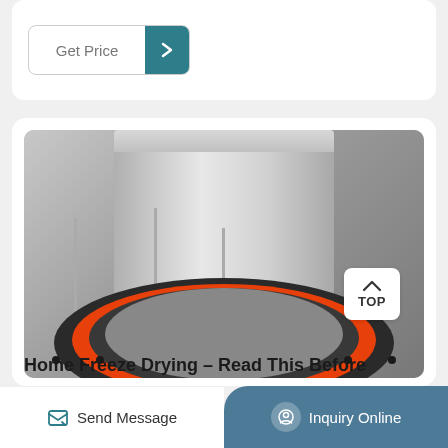[Figure (screenshot): Get Price button with teal arrow icon on white card background]
[Figure (photo): Close-up photo of a freeze dryer machine showing a clear cylindrical glass chamber sitting on a black and orange circular base/flange with metal pins. A TOP navigation badge is visible in the upper right of the image.]
Home Freeze Drying – Read This Before
Send Message
Inquiry Online